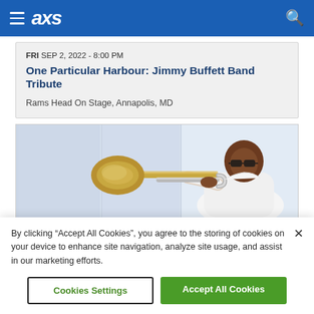AXS navigation header with hamburger menu, axs logo, and search icon
FRI SEP 2, 2022 - 8:00 PM
One Particular Harbour: Jimmy Buffett Band Tribute
Rams Head On Stage, Annapolis, MD
[Figure (photo): Musician in white clothing holding a trombone, light background]
By clicking “Accept All Cookies”, you agree to the storing of cookies on your device to enhance site navigation, analyze site usage, and assist in our marketing efforts.
Cookies Settings
Accept All Cookies